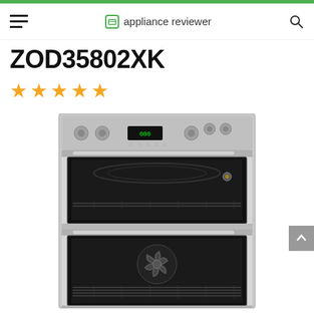appliance reviewer
ZOD35802XK
[Figure (other): Five gold/yellow star rating icons]
[Figure (photo): Zanussi ZOD35802XK double built-in oven in stainless steel finish, showing control knobs and digital display on top panel, upper oven cavity with grill element and rack, lower oven cavity with fan and rack]